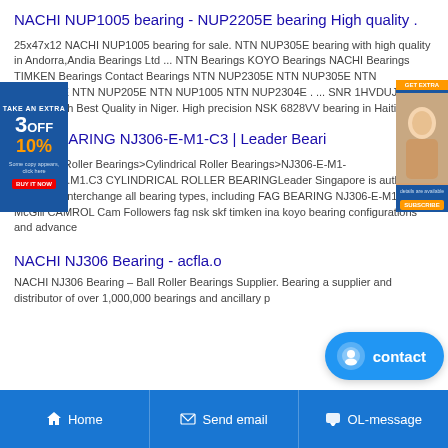NACHI NUP1005 bearing - NUP2205E bearing High quality .
25x47x12 NACHI NUP1005 bearing for sale. NTN NUP305E bearing with high quality in Andorra,Andia Bearings Ltd ... NTN Bearings KOYO Bearings NACHI Bearings TIMKEN Bearings Contact Bearings NTN NUP2305E NTN NUP305E NTN NUP2205E NTN NUP205E NTN NUP1005 NTN NUP2304E . ... SNR 1HVDUJ74 bearing with Best Quality in Niger. High precision NSK 6828VV bearing in Haiti.
[Figure (other): Left advertisement banner: blue background, 3OFF 10% promotional text in orange and white, with red button]
[Figure (other): Right advertisement banner: blue background with orange top bar, woman portrait image, and action button]
FAG BEARING NJ306-E-M1-C3 | Leader Beari
Bearings>Roller Bearings>Cylindrical Roller Bearings>NJ306-E-M1-C3NJ306E.M1.C3 CYLINDRICAL ROLLER BEARINGLeader Singapore is authorized dealers in interchange all bearing types, including FAG BEARING NJ306-E-M1-C3 McGill CAMROL Cam Followers fag nsk skf timken ina koyo bearing configurations and advance
NACHI NJ306 Bearing - acfla.o
NACHI NJ306 Bearing – Ball Roller Bearings Supplier. Bearing a supplier and distributor of over 1,000,000 bearings and ancillary p
[Figure (other): Contact button: blue rounded pill button with chat icon and 'contact' text]
Home   Send email   OL-message